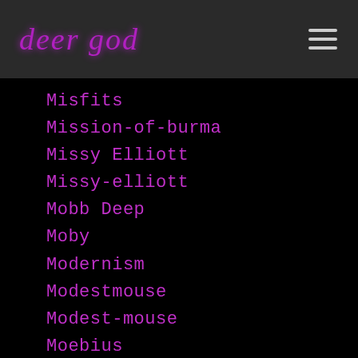deer god
Misfits
Mission-of-burma
Missy Elliott
Missy-elliott
Mobb Deep
Moby
Modernism
Modestmouse
Modest-mouse
Moebius
Mogwai
Mojave 3
Mojo Nixon
Money-mark
Monie Love
Mon Laferte
Monotones